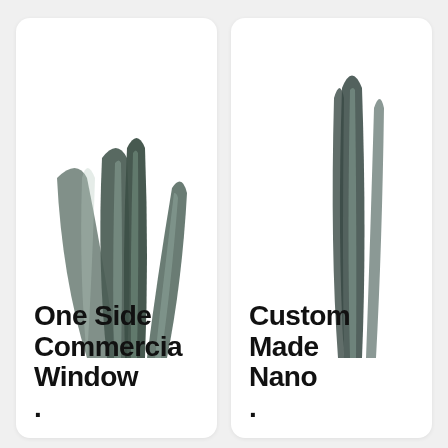[Figure (photo): Product card showing dark tinted window film rolls fanned out, with text 'One Side Commercial Window' below]
[Figure (photo): Product card showing a single dark tinted window film roll, with text 'Custom Made Nano' below, partially cropped]